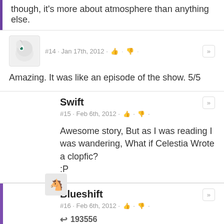though, it's more about atmosphere than anything else.
#14 · Jan 17th, 2012
Amazing. It was like an episode of the show. 5/5
Swift
#15 · Feb 6th, 2012
Awesome story, But as I was reading I was wandering, What if Celestia Wrote a clopfic?
:P
Blueshift
#16 · Feb 6th, 2012
193556
That's the racy continental adaption!